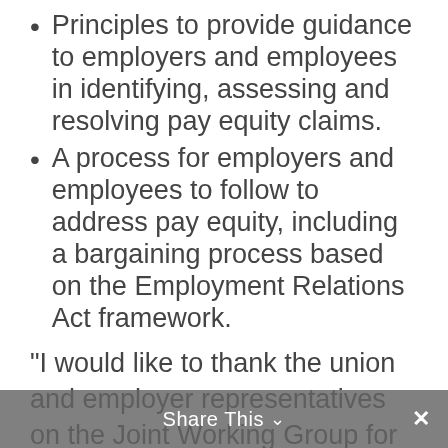Principles to provide guidance to employers and employees in identifying, assessing and resolving pay equity claims.
A process for employers and employees to follow to address pay equity, including a bargaining process based on the Employment Relations Act framework.
“I would like to thank the union and employer representatives on the Joint Working Group for their hard work and commitment to what is a very important issue,” Mrs Bennett says.
Share This